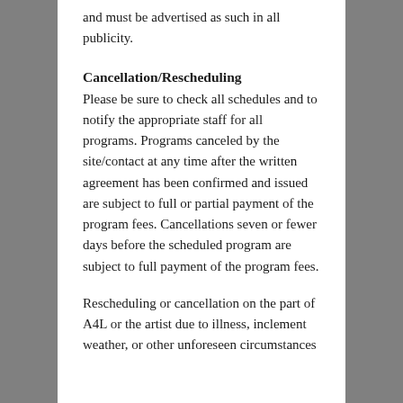and must be advertised as such in all publicity.
Cancellation/Rescheduling
Please be sure to check all schedules and to notify the appropriate staff for all programs. Programs canceled by the site/contact at any time after the written agreement has been confirmed and issued are subject to full or partial payment of the program fees. Cancellations seven or fewer days before the scheduled program are subject to full payment of the program fees.
Rescheduling or cancellation on the part of A4L or the artist due to illness, inclement weather, or other unforeseen circumstances